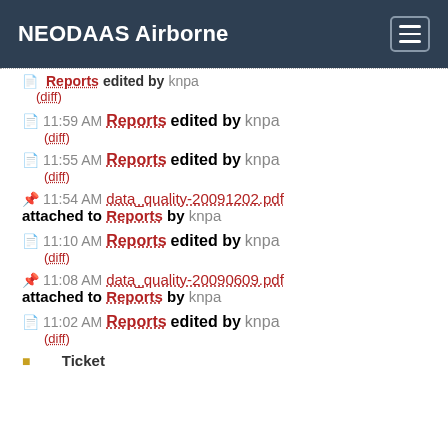NEODAAS Airborne
11:59 AM Reports edited by knpa (diff)
11:55 AM Reports edited by knpa (diff)
11:54 AM data_quality-20091202.pdf attached to Reports by knpa
11:10 AM Reports edited by knpa (diff)
11:08 AM data_quality-20090609.pdf attached to Reports by knpa
11:02 AM Reports edited by knpa (diff)